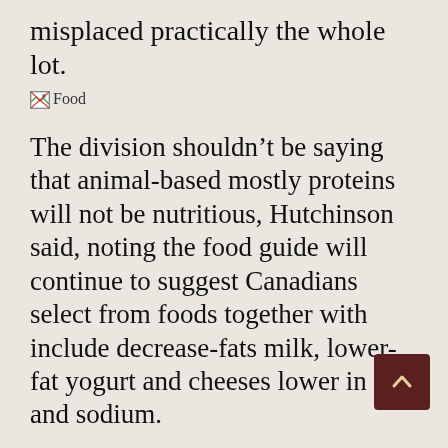misplaced practically the whole lot.
[Figure (photo): Broken image placeholder labeled 'Food']
The division shouldn’t be saying that animal-based mostly proteins will not be nutritious, Hutchinson said, noting the food guide will continue to suggest Canadians select from foods together with include decrease-fats milk, lower-fat yogurt and cheeses lower in fat and sodium.
Feeding a excessive progress fish food in the course of the winter may end up in severe health issues. 145,000 Meals a D Makes an Impression. All of our childr meals are served with a selection of greens,